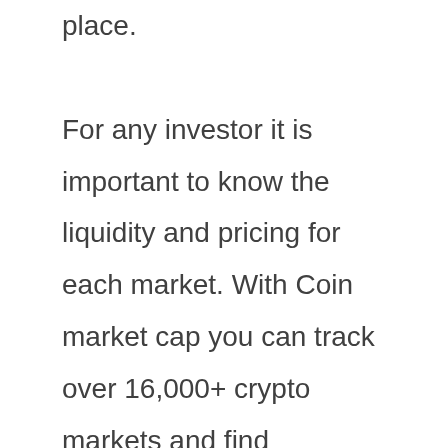place.
For any investor it is important to know the liquidity and pricing for each market. With Coin market cap you can track over 16,000+ crypto markets and find exchange rankings, volumes and also get details for each exchange's active markets and fee structures.
Receive up to date important crypto metrics, such as Total Market Cap, Bitcoin Dominance, Ethereum